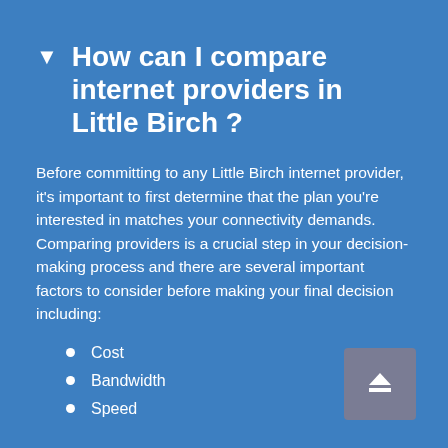How can I compare internet providers in Little Birch ?
Before committing to any Little Birch internet provider, it's important to first determine that the plan you're interested in matches your connectivity demands. Comparing providers is a crucial step in your decision-making process and there are several important factors to consider before making your final decision including:
Cost
Bandwidth
Speed